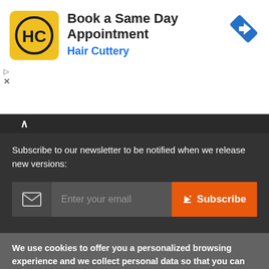[Figure (screenshot): Hair Cuttery advertisement banner with logo, title 'Book a Same Day Appointment', subtitle 'Hair Cuttery', and navigation arrow icon]
Subscribe to our newsletter to be notified when we release new versions:
[Figure (screenshot): Email subscription form with envelope icon, 'Enter your email' placeholder, and orange 'Subscribe' button with pencil icon]
We use cookies to offer you a personalized browsing experience and we collect personal data so that you can use our products.
[Figure (screenshot): Cookie consent buttons: orange 'I AGREE' button with up-arrow icon on left, and outlined 'READ MORE' button below]